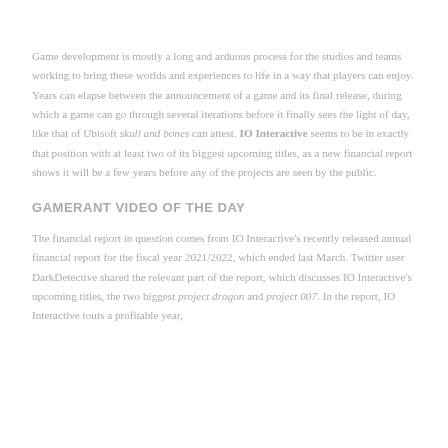Game development is mostly a long and arduous process for the studios and teams working to bring these worlds and experiences to life in a way that players can enjoy. Years can elapse between the announcement of a game and its final release, during which a game can go through several iterations before it finally sees the light of day, like that of Ubisoft skull and bones can attest. IO Interactive seems to be in exactly that position with at least two of its biggest upcoming titles, as a new financial report shows it will be a few years before any of the projects are seen by the public.
GAMERANT VIDEO OF THE DAY
The financial report in question comes from IO Interactive's recently released annual financial report for the fiscal year 2021/2022, which ended last March. Twitter user DarkDetective shared the relevant part of the report, which discusses IO Interactive's upcoming titles, the two biggest project dragon and project 007. In the report, IO Interactive touts a profitable year,